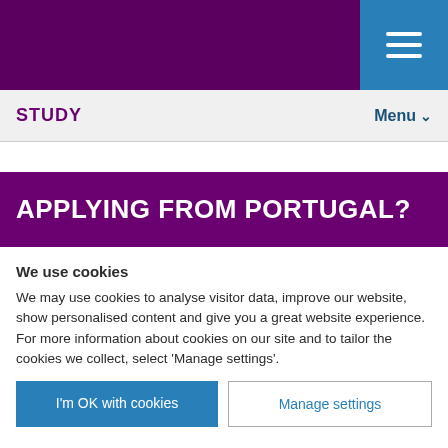[Figure (screenshot): Purple and blue header banner with hamburger menu icon on blue section]
STUDY   Menu
APPLYING FROM PORTUGAL?
We use cookies
We may use cookies to analyse visitor data, improve our website, show personalised content and give you a great website experience. For more information about cookies on our site and to tailor the cookies we collect, select 'Manage settings'.